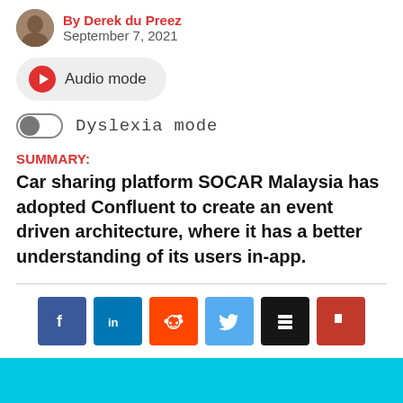By Derek du Preez
September 7, 2021
[Figure (other): Audio mode button with red play icon on grey rounded pill background]
[Figure (other): Dyslexia mode toggle switch (toggled on, dark knob on left)]
SUMMARY:
Car sharing platform SOCAR Malaysia has adopted Confluent to create an event driven architecture, where it has a better understanding of its users in-app.
[Figure (other): Social sharing buttons: Facebook, LinkedIn, Reddit, Twitter, Buffer, Flipboard]
[Figure (other): Comment speech bubble icon]
[Figure (other): Cyan/turquoise banner bar at the bottom of the page]